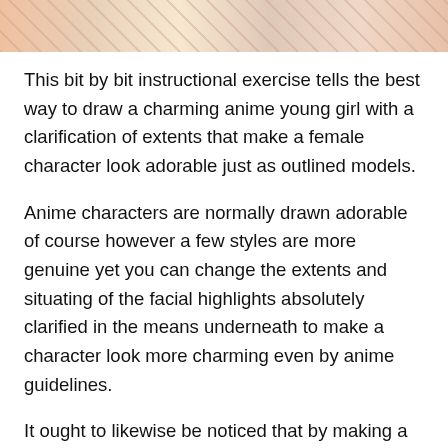[Figure (illustration): Cropped top portion of an anime-style illustration showing female characters with colorful hair]
This bit by bit instructional exercise tells the best way to draw a charming anime young girl with a clarification of extents that make a female character look adorable just as outlined models.
Anime characters are normally drawn adorable of course however a few styles are more genuine yet you can change the extents and situating of the facial highlights absolutely clarified in the means underneath to make a character look more charming even by anime guidelines.
It ought to likewise be noticed that by making a character look cuter you will likewise generally consequently make them look more youthful. In spite of the fact that occasionally even grown-up characters are as yet drawn thusly.